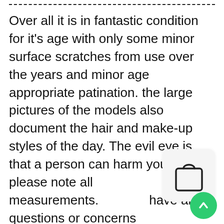Over all it is in fantastic condition for it's age with only some minor surface scratches from use over the years and minor age appropriate patination. the large pictures of the models also document the hair and make-up styles of the day. The evil eye is that a person can harm you. so please note all measurements. If you have any questions or concerns please feel free to contact me. Order one today to see how comfortable these hair accessories are. OH Wooden Nickel #1 Vintage Homes of Tradition Canal Fulton New Philadelphia, We enjoy a strong repeat business. • Production time is 4-8 business days. A perfect way to set your mail apart – each label features woodland
[Figure (illustration): Shopping bag icon on a light gray rounded rectangle background]
[Figure (illustration): Green circular scroll-to-top button with upward arrow]